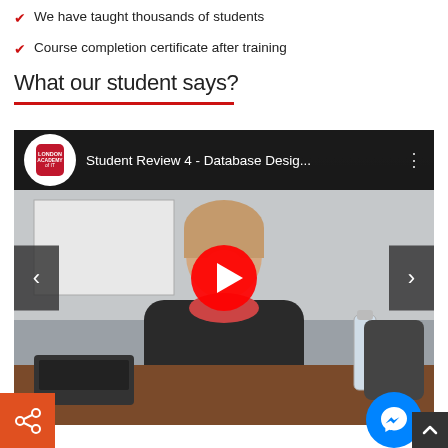We have taught thousands of students
Course completion certificate after training
What our student says?
[Figure (screenshot): YouTube video embed showing a student review titled 'Student Review 4 - Database Desig...' from London Academy of IT channel, featuring a young woman sitting in a classroom setting, with a red YouTube play button in the center, previous/next navigation arrows on sides.]